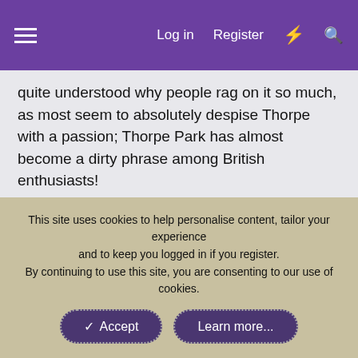Log in  Register
quite understood why people rag on it so much, as most seem to absolutely despise Thorpe with a passion; Thorpe Park has almost become a dirty phrase among British enthusiasts!
JAperson, Skyscraper and Ethan
AT86
This site uses cookies to help personalise content, tailor your experience and to keep you logged in if you register. By continuing to use this site, you are consenting to our use of cookies.